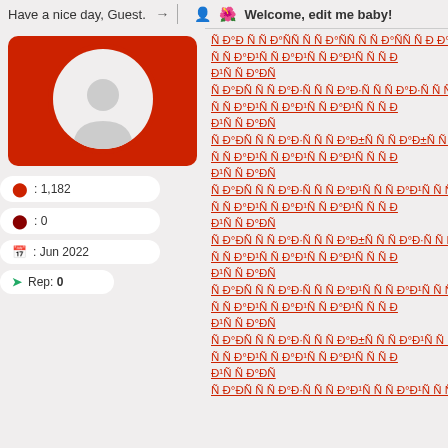Have a nice day, Guest.
Welcome, edit me baby!
[Figure (illustration): User profile avatar with gray silhouette on red circular background]
: 1,182
: 0
: Jun 2022
Rep: 0
Repeated Cyrillic-like encoded text lines (Ð°Ð¹Ñ Ñ Ð°Ð¹Ñ Ñ Ð°Ð±Ñ Ñ Ð°Ð·Ñ pattern repeated many times)